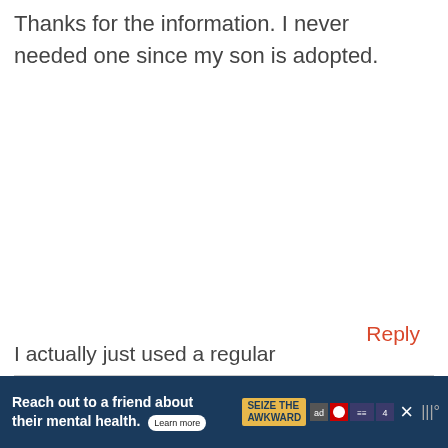Thanks for the information. I never needed one since my son is adopted.
Reply
ROBIN (MASSHOLE MOMMY)
MARCH 2, 2015 AT 1:12 PM
I actually just used a regular
[Figure (infographic): Advertisement banner: 'Reach out to a friend about their mental health. Learn more' with SEIZE THE AWKWARD badge and icons, dark blue background, with close button.]